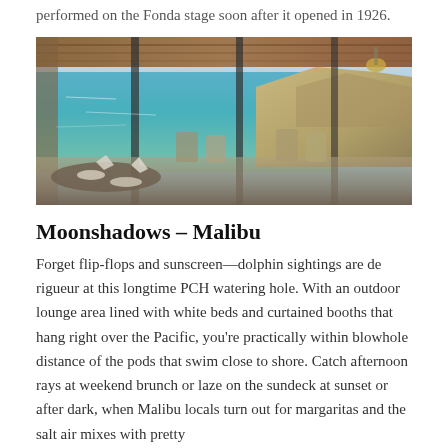performed on the Fonda stage soon after it opened in 1926.
[Figure (photo): Interior of Moonshadows restaurant in Malibu with floor-to-ceiling windows overlooking the Pacific Ocean, showing dining tables with white napkins, wooden chairs, exposed beam ceiling, and a rocky hillside visible through the windows.]
Moonshadows – Malibu
Forget flip-flops and sunscreen—dolphin sightings are de rigueur at this longtime PCH watering hole. With an outdoor lounge area lined with white beds and curtained booths that hang right over the Pacific, you're practically within blowhole distance of the pods that swim close to shore. Catch afternoon rays at weekend brunch or laze on the sundeck at sunset or after dark, when Malibu locals turn out for margaritas and the salt air mixes with pretty